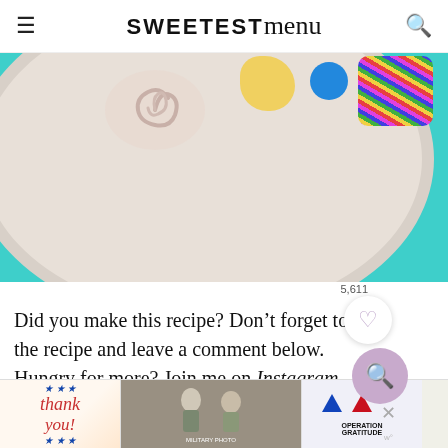SWEETEST menu
[Figure (photo): Close-up of colorful desserts/cupcakes on a white plate against a teal background. Visible decorations include swirled frosting, a yellow piece, a blue M&M candy, and a sprinkle-covered section.]
Did you make this recipe? Don't forget to rate the recipe and leave a comment below. Hungry for more? Join me on Instagram, Facebook, Pinterest and Twitter for more amazing recipe ideas.
[Figure (other): Advertisement banner: 'Thank you' handwritten text with stars and stripes motif, military photograph, Operation Gratitude logo]